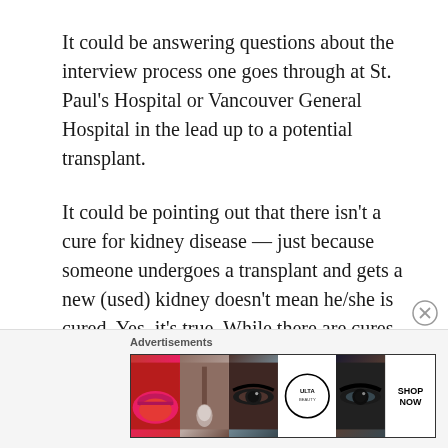It could be answering questions about the interview process one goes through at St. Paul's Hospital or Vancouver General Hospital in the lead up to a potential transplant.
It could be pointing out that there isn't a cure for kidney disease — just because someone undergoes a transplant and gets a new (used) kidney doesn't mean he/she is cured. Yes, it's true. While there are cures for various kinds of cancer and other diseases, there isn't a cure for kidney disease.
[Figure (other): Advertisements banner for ULTA beauty showing closeup photos of lips, makeup brush, eye with dark makeup, ULTA logo, another eye with dark makeup, and SHOP NOW button.]